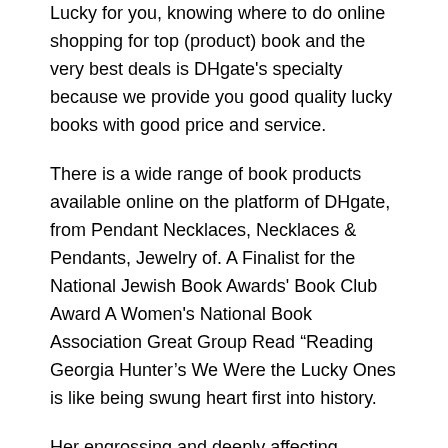Lucky for you, knowing where to do online shopping for top (product) book and the very best deals is DHgate's specialty because we provide you good quality lucky books with good price and service.
There is a wide range of book products available online on the platform of DHgate, from Pendant Necklaces, Necklaces & Pendants, Jewelry of. A Finalist for the National Jewish Book Awards' Book Club Award A Women's National Book Association Great Group Read “Reading Georgia Hunter’s We Were the Lucky Ones is like being swung heart first into history.
Her engrossing and deeply affecting account will leave you breathless/5(K). In Ravka, just because you avoid one trap, it doesn't mean you'll escape the next. This story is a companion folk tale to Leigh Bardugo's upcoming novel, Siege and Storm, the second book in the Grisha Trilogy.
At the publisher's request, this title is being sold without Digital Rights Management software (DRM) applied. Foxes Book Of Martyrs by Marie Gentert King and a great selection of related books, art and collectibles available now at The Actes and Monuments, popularly